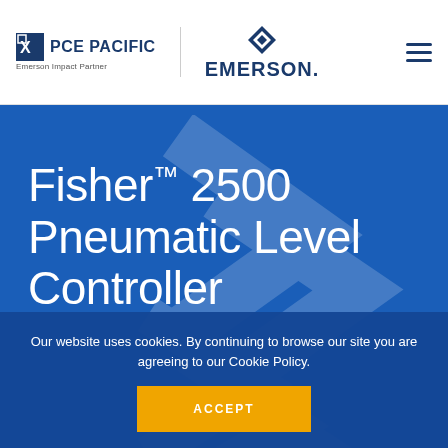PCE PACIFIC | Emerson Impact Partner | EMERSON
Fisher™ 2500 Pneumatic Level Controller
Our website uses cookies. By continuing to browse our site you are agreeing to our Cookie Policy.
ACCEPT